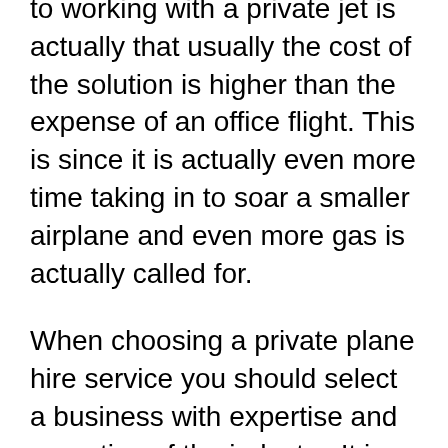to working with a private jet is actually that usually the cost of the solution is higher than the expense of an office flight. This is since it is actually even more time taking in to soar a smaller airplane and even more gas is actually called for.
When choosing a private plane hire service you should select a business with expertise and expertise of the industry. It is actually a good idea to permit our team understand the amount of opportunities they have actually executed this company. Preferably, you would certainly such as a firm that provides a choice of plane. It will be actually preferable to permit us know if they possess plane in a certain array, to ensure that our team can easily pick the one most ideal for